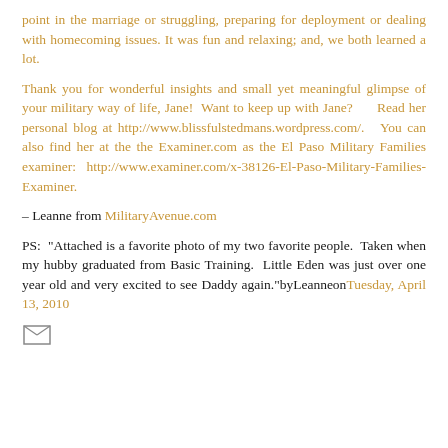point in the marriage or struggling, preparing for deployment or dealing with homecoming issues. It was fun and relaxing; and, we both learned a lot.
Thank you for wonderful insights and small yet meaningful glimpse of your military way of life, Jane! Want to keep up with Jane? Read her personal blog at http://www.blissfulstedmans.wordpress.com/. You can also find her at the the Examiner.com as the El Paso Military Families examiner: http://www.examiner.com/x-38126-El-Paso-Military-Families-Examiner.
– Leanne from MilitaryAvenue.com
PS: "Attached is a favorite photo of my two favorite people. Taken when my hubby graduated from Basic Training. Little Eden was just over one year old and very excited to see Daddy again."byLeanneonTuesday, April 13, 2010